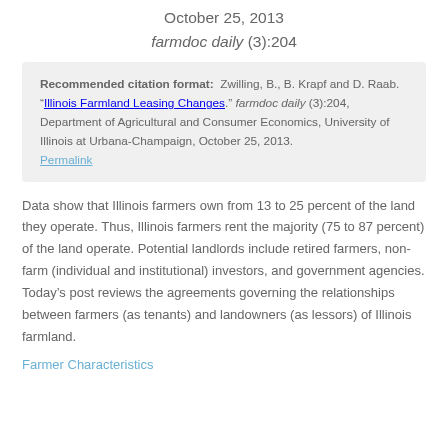October 25, 2013
farmdoc daily (3):204
Recommended citation format:  Zwilling, B., B. Krapf and D. Raab. "Illinois Farmland Leasing Changes." farmdoc daily (3):204, Department of Agricultural and Consumer Economics, University of Illinois at Urbana-Champaign, October 25, 2013.
Permalink
Data show that Illinois farmers own from 13 to 25 percent of the land they operate. Thus, Illinois farmers rent the majority (75 to 87 percent) of the land operate. Potential landlords include retired farmers, non-farm (individual and institutional) investors, and government agencies. Today’s post reviews the agreements governing the relationships between farmers (as tenants) and landowners (as lessors) of Illinois farmland.
Farmer Characteristics